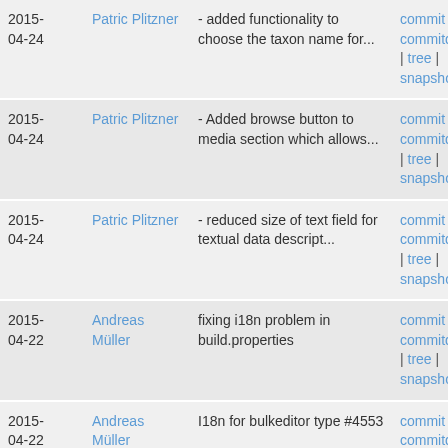| Date | Author | Message | Links |
| --- | --- | --- | --- |
| 2015-04-24 | Patric Plitzner | - added functionality to choose the taxon name for... | commit | commitdiff | tree | snapshot |
| 2015-04-24 | Patric Plitzner | - Added browse button to media section which allows... | commit | commitdiff | tree | snapshot |
| 2015-04-24 | Patric Plitzner | - reduced size of text field for textual data descript... | commit | commitdiff | tree | snapshot |
| 2015-04-22 | Andreas Müller | fixing i18n problem in build.properties | commit | commitdiff | tree | snapshot |
| 2015-04-22 | Andreas Müller | I18n for bulkeditor type #4553 | commit | commitdiff | tree | snapshot |
| 2015- | Andreas | minor | commit | |